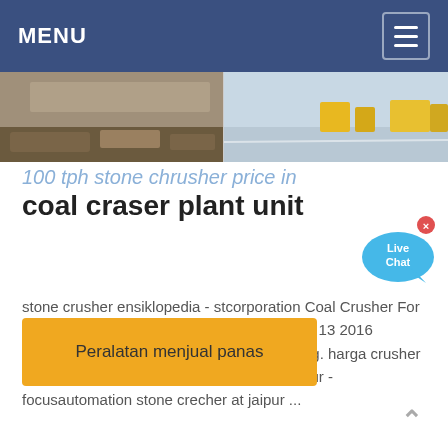MENU
[Figure (photo): Two side-by-side construction/mining site photos — left shows dirt ground with equipment, right shows a paved surface with yellow machinery in background]
100 tph stone chrusher price in
coal craser plant unit
[Figure (illustration): Live Chat bubble icon in blue]
stone crusher ensiklopedia - stcorporation Coal Crusher For 750 Tph Capacity surindernarainahuja . Feb 13 2016 Previous crusher for grey iron 200 kg casting. harga crusher plastik teco stone crushercrusher stone jaipur - focusautomation stone crecher at jaipur ...
Peralatan menjual panas